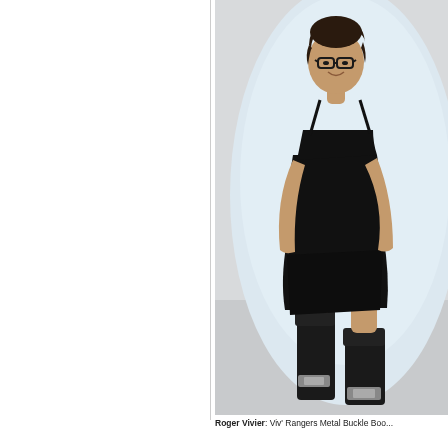[Figure (photo): A woman wearing a black spaghetti-strap mini dress and tall black boots with metal buckles, standing in a studio setting with a large light-blue circular backdrop on a grey floor. She has short dark hair and wears black-framed glasses, smiling at the camera.]
Roger Vivier: Viv' Rangers Metal Buckle Boo...